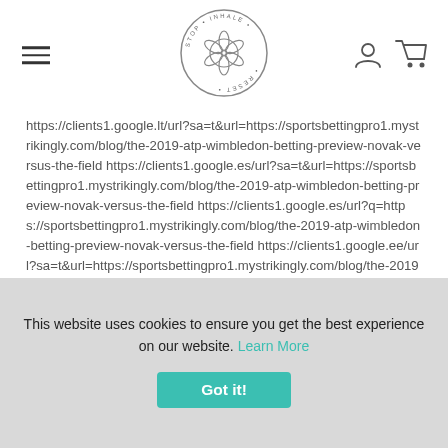[Figure (logo): Stop Inhale Reset circular logo with flower/mandala design in center]
https://clients1.google.lt/url?sa=t&url=https://sportsbettingpro1.mystrikingly.com/blog/the-2019-atp-wimbledon-betting-preview-novak-versus-the-field https://clients1.google.es/url?sa=t&url=https://sportsbettingpro1.mystrikingly.com/blog/the-2019-atp-wimbledon-betting-preview-novak-versus-the-field https://clients1.google.es/url?q=https://sportsbettingpro1.mystrikingly.com/blog/the-2019-atp-wimbledon-betting-preview-novak-versus-the-field https://clients1.google.ee/url?sa=t&url=https://sportsbettingpro1.mystrikingly.com/blog/the-2019-atp-wimbledon-betting-preview-novak-versus-the-field
This website uses cookies to ensure you get the best experience on our website. Learn More
Got it!